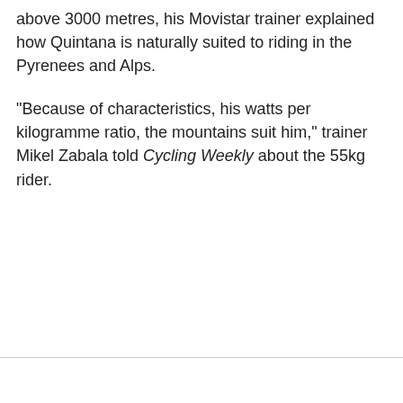above 3000 metres, his Movistar trainer explained how Quintana is naturally suited to riding in the Pyrenees and Alps.
"Because of characteristics, his watts per kilogramme ratio, the mountains suit him," trainer Mikel Zabala told Cycling Weekly about the 55kg rider.